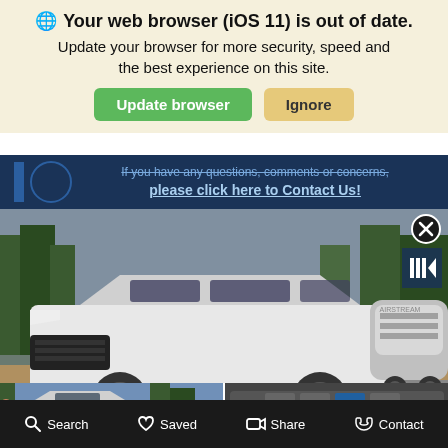🌐 Your web browser (iOS 11) is out of date. Update your browser for more security, speed and the best experience on this site.
Update browser
Ignore
If you have any questions, comments or concerns, please click here to Contact Us!
[Figure (photo): White Hyundai Santa Fe SUV towing a silver Airstream trailer on a dirt road through a forested area]
[Figure (photo): Left thumbnail: Side view of white SUV outdoors with trees in background]
[Figure (photo): Right thumbnail: Close-up of vehicle infotainment/climate control panel]
Search
Saved
Share
Contact